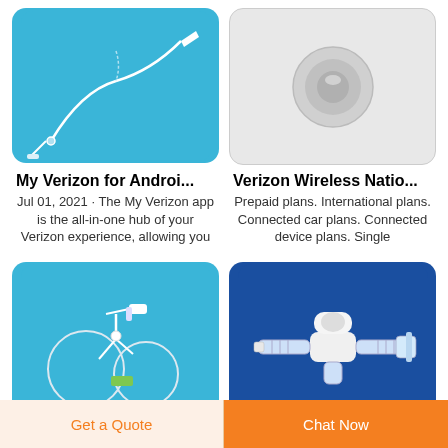[Figure (photo): Medical catheter/IV tubing on blue background (top-left)]
[Figure (photo): Medical device on gray/white background (top-right)]
My Verizon for Androi...
Jul 01, 2021 · The My Verizon app is the all-in-one hub of your Verizon experience, allowing you
Verizon Wireless Natio...
Prepaid plans. International plans. Connected car plans. Connected device plans. Single
[Figure (photo): IV infusion set / catheter tubing on blue background (bottom-left)]
[Figure (photo): Medical stopcock / three-way valve device on dark blue background (bottom-right)]